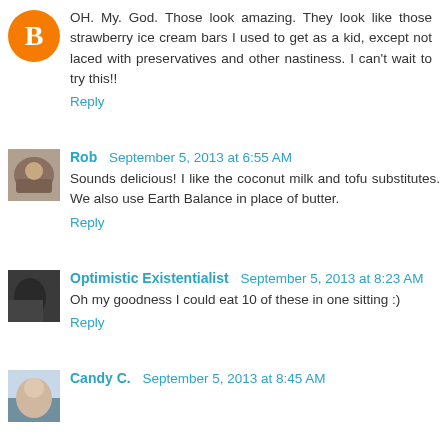OH. My. God. Those look amazing. They look like those strawberry ice cream bars I used to get as a kid, except not laced with preservatives and other nastiness. I can't wait to try this!!
Reply
Rob  September 5, 2013 at 6:55 AM
Sounds delicious! I like the coconut milk and tofu substitutes. We also use Earth Balance in place of butter.
Reply
Optimistic Existentialist  September 5, 2013 at 8:23 AM
Oh my goodness I could eat 10 of these in one sitting :)
Reply
Candy C.  September 5, 2013 at 8:45 AM